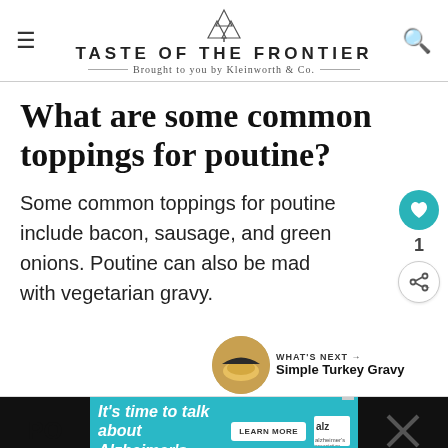TASTE OF THE FRONTIER — Brought to you by Kleinworth & Co.
What are some common toppings for poutine?
Some common toppings for poutine include bacon, sausage, and green onions. Poutine can also be made with vegetarian gravy.
[Figure (other): What's Next arrow with Simple Turkey Gravy thumbnail]
[Figure (other): Advertisement banner: It's time to talk about Alzheimer's. Learn More. Alzheimer's Association logo.]